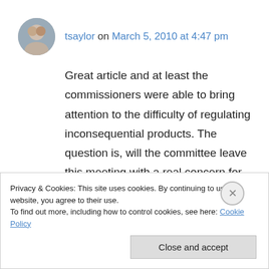tsaylor on March 5, 2010 at 4:47 pm
Great article and at least the commissioners were able to bring attention to the difficulty of regulating inconsequential products. The question is, will the committee leave this meeting with a real concern for the unintentional consequences on small businesses, large companies and consumer alike and begin a dialogue which leads to action and change? It's
Privacy & Cookies: This site uses cookies. By continuing to use this website, you agree to their use.
To find out more, including how to control cookies, see here: Cookie Policy
Close and accept